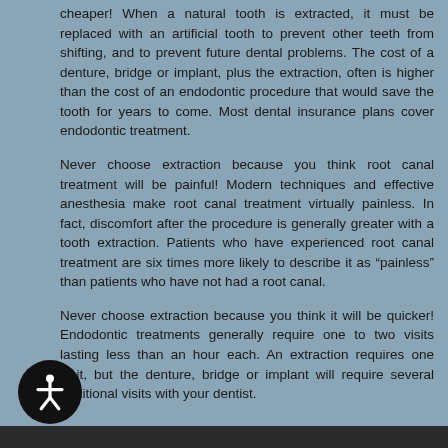cheaper! When a natural tooth is extracted, it must be replaced with an artificial tooth to prevent other teeth from shifting, and to prevent future dental problems. The cost of a denture, bridge or implant, plus the extraction, often is higher than the cost of an endodontic procedure that would save the tooth for years to come. Most dental insurance plans cover endodontic treatment.
Never choose extraction because you think root canal treatment will be painful! Modern techniques and effective anesthesia make root canal treatment virtually painless. In fact, discomfort after the procedure is generally greater with a tooth extraction. Patients who have experienced root canal treatment are six times more likely to describe it as “painless” than patients who have not had a root canal.
Never choose extraction because you think it will be quicker! Endodontic treatments generally require one to two visits lasting less than an hour each. An extraction requires one visit, but the denture, bridge or implant will require several additional visits with your dentist.